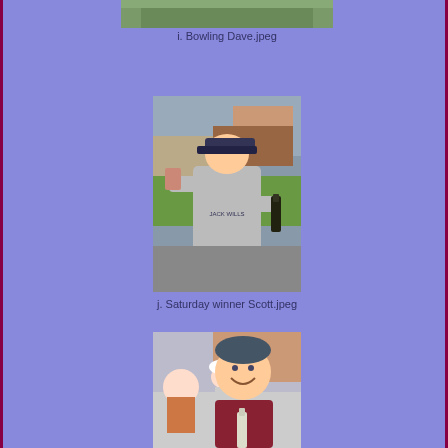[Figure (photo): Top portion of photo partially visible - bowling scene with Dave]
i. Bowling Dave.jpeg
[Figure (photo): Man in gray Jack Wills hoodie and baseball cap, holding a drink in one hand and a bottle of wine/champagne in the other, standing outside near a lawn and brick building]
j. Saturday winner Scott.jpeg
[Figure (photo): Woman in maroon/burgundy shirt smiling, with other people in background, outdoors]